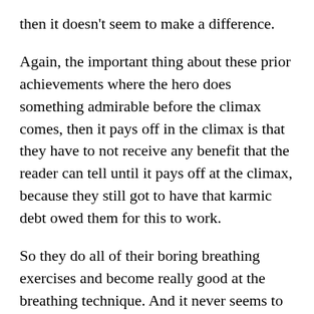then it doesn't seem to make a difference.
Again, the important thing about these prior achievements where the hero does something admirable before the climax comes, then it pays off in the climax is that they have to not receive any benefit that the reader can tell until it pays off at the climax, because they still got to have that karmic debt owed them for this to work.
So they do all of their boring breathing exercises and become really good at the breathing technique. And it never seems to matter until suddenly at the climax, it turns out they're fighting the villain. The villain does not have good breathing technique. And it's just that foundational skill that they win the day